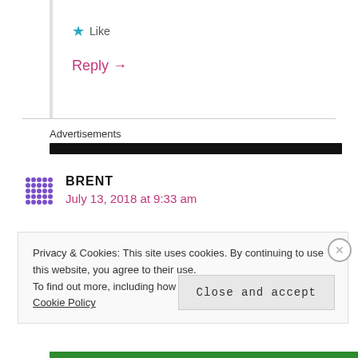★ Like
Reply →
Advertisements
[Figure (other): Black advertisement bar]
BRENT
July 13, 2018 at 9:33 am
Privacy & Cookies: This site uses cookies. By continuing to use this website, you agree to their use.
To find out more, including how to control cookies, see here: Cookie Policy
Close and accept